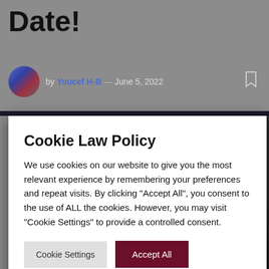Date!
by Youcef H-B — June 5, 2022
[Figure (screenshot): Cookie Law Policy modal dialog overlaying a webpage with article content. Modal contains title 'Cookie Law Policy', explanatory text about cookie usage, and two buttons: 'Cookie Settings' and 'Accept All'. Behind the modal is a dark video player area showing 'No compatible source was found for this media.' with a close button, and at the bottom partial text 'Get everything you need to know about'.]